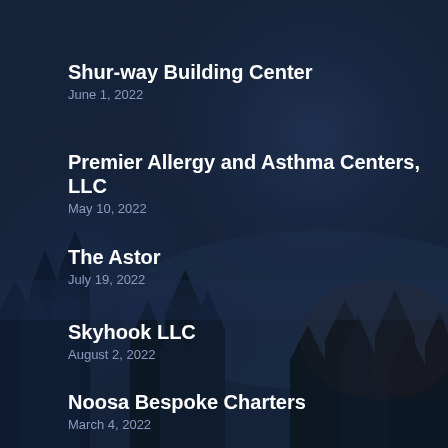Shur-way Building Center
June 1, 2022
Premier Allergy and Asthma Centers, LLC
May 10, 2022
The Astor
July 19, 2022
Skyhook LLC
August 2, 2022
Noosa Bespoke Charters
March 4, 2022